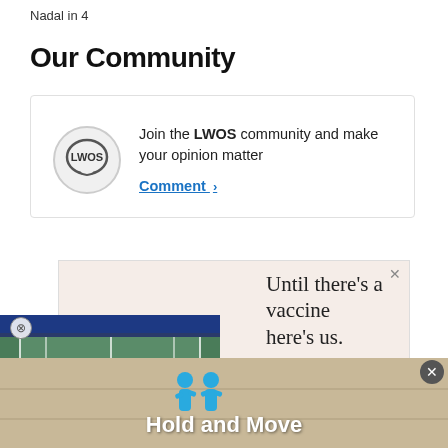Nadal in 4
Our Community
Join the LWOS community and make your opinion matter
Comment >
[Figure (screenshot): Advertisement with text 'Until there's a vaccine here's us.' and a video thumbnail showing a tennis court with a play button overlay]
[Figure (screenshot): Bottom banner advertisement with two blue human figures and text 'Hold and Move']